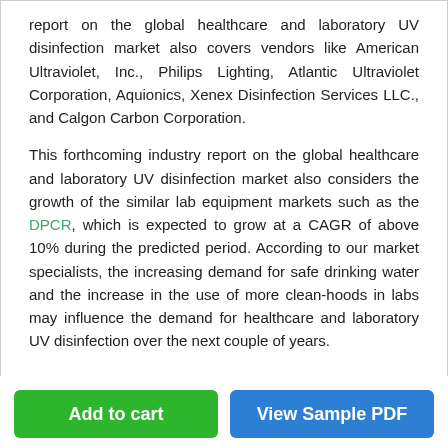report on the global healthcare and laboratory UV disinfection market also covers vendors like American Ultraviolet, Inc., Philips Lighting, Atlantic Ultraviolet Corporation, Aquionics, Xenex Disinfection Services LLC., and Calgon Carbon Corporation.
This forthcoming industry report on the global healthcare and laboratory UV disinfection market also considers the growth of the similar lab equipment markets such as the DPCR, which is expected to grow at a CAGR of above 10% during the predicted period. According to our market specialists, the increasing demand for safe drinking water and the increase in the use of more clean-hoods in labs may influence the demand for healthcare and laboratory UV disinfection over the next couple of years.
Add to cart
View Sample PDF